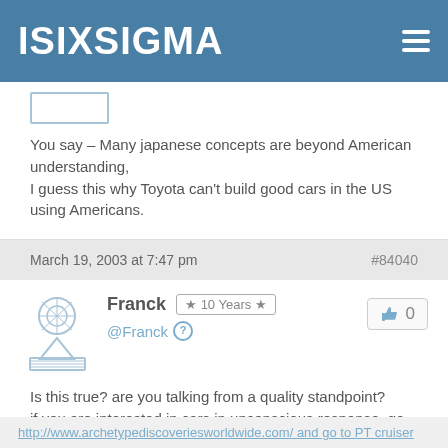ISIXSIGMA
You say – Many japanese concepts are beyond American understanding,
I guess this why Toyota can't build good cars in the US using Americans.
March 19, 2003 at 7:47 pm  #84040
Franck  ★ 10 Years ★  @Franck  👍 0
Is this true? are you talking from a quality standpoint?
if you are interested in cars in unconscious response, go to
http://www.archetypediscoveriesworldwide.com/ and go to PT cruiser